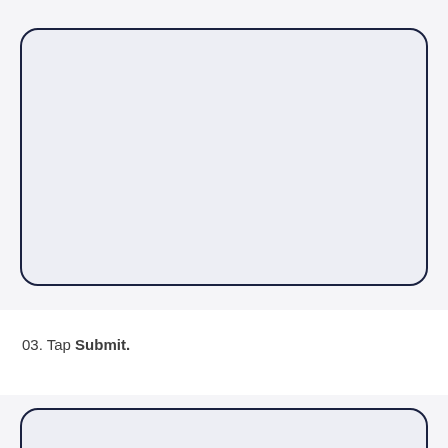[Figure (screenshot): A UI screenshot showing a rounded rectangle card/panel with a light gray background and dark navy border, representing a mobile app screen element (top section)]
03. Tap Submit.
[Figure (screenshot): A UI screenshot showing the top portion of another rounded rectangle card/panel with a light gray background and dark navy border, cropped at the bottom of the page]